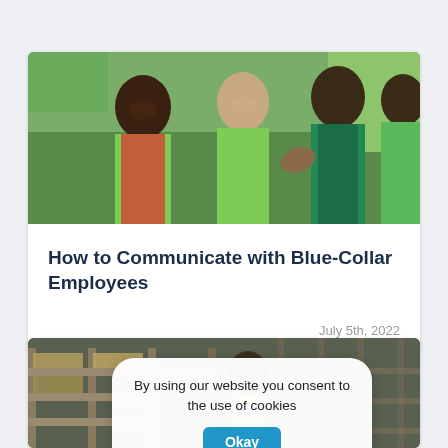[Figure (photo): Group of workers in green t-shirts and aprons talking outdoors, appearing to be in a garden or grocery store setting]
How to Communicate with Blue-Collar Employees
July 5th, 2022
[Figure (photo): Worker in warehouse/distribution center wearing a high-visibility vest, shelving visible in background]
By using our website you consent to the use of cookies